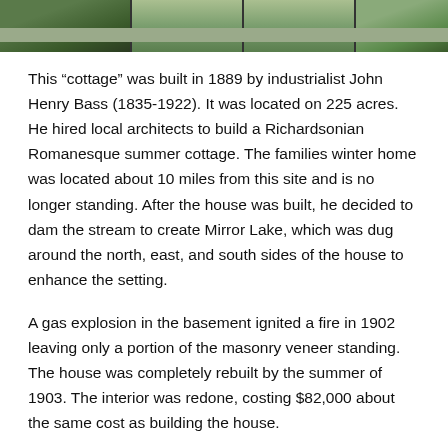[Figure (photo): Photograph of a building or cottage exterior, showing greenery and architectural elements, cropped at top of page.]
This “cottage” was built in 1889 by industrialist John Henry Bass (1835-1922). It was located on 225 acres.  He hired local architects to build a Richardsonian Romanesque summer cottage. The families winter home was located about 10 miles from this site and is no longer standing. After the house was built, he decided to dam the stream to create Mirror Lake, which was dug around the north, east, and south sides of the house to enhance the setting.
A gas explosion in the basement ignited a fire in 1902 leaving only a portion of the masonry veneer standing. The house was completely rebuilt by the summer of 1903. The interior was redone, costing $82,000 about the same cost as building the house.